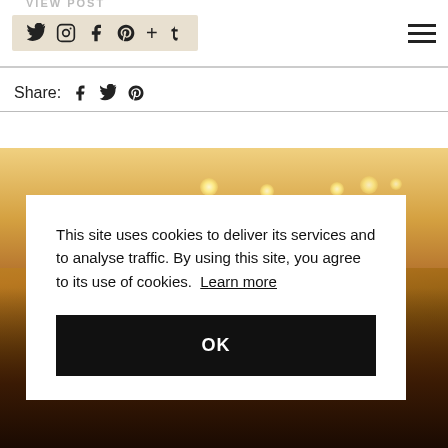VIEW POST — navigation bar with social icons: Twitter, Instagram, Facebook, Pinterest, +, Tumblr, and hamburger menu
Share: (Facebook, Twitter, Pinterest icons)
[Figure (photo): Interior of a store or restaurant with warm golden/amber lighting, blurred background with ceiling recessed lights and people visible in background]
This site uses cookies to deliver its services and to analyse traffic. By using this site, you agree to its use of cookies. Learn more
OK